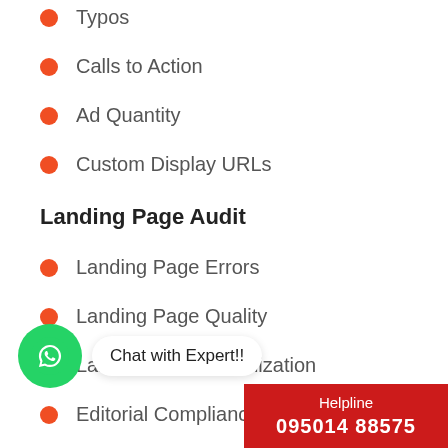Typos
Calls to Action
Ad Quantity
Custom Display URLs
Landing Page Audit
Landing Page Errors
Landing Page Quality
Landing Page Optimization
Editorial Compliance
E...n.
Sitelinks
[Figure (other): WhatsApp chat bubble with 'Chat with Expert!!' text]
Helpline
095014 88575